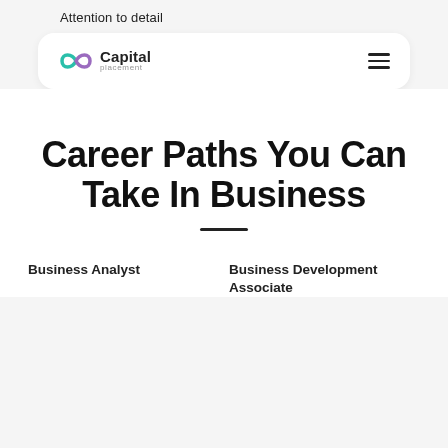Attention to detail
[Figure (logo): Capital Placement logo with teal and purple intertwined loop icon, text 'Capital' in bold and 'placement' small below, with hamburger menu icon on the right]
Career Paths You Can Take In Business
Business Analyst
Business Development Associate